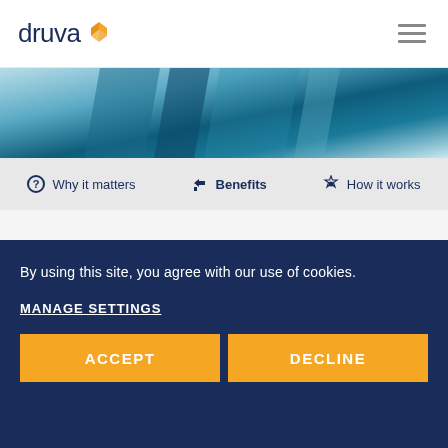[Figure (logo): Druva logo with orange geometric icon and dark blue text]
[Figure (photo): Abstract teal and light blue hero image banner]
Why it matters | Benefits | How it works
Data protection shouldn't be complex
By using this site, you agree with our use of cookies.
MANAGE SETTINGS
ACCEPT
DECLINE